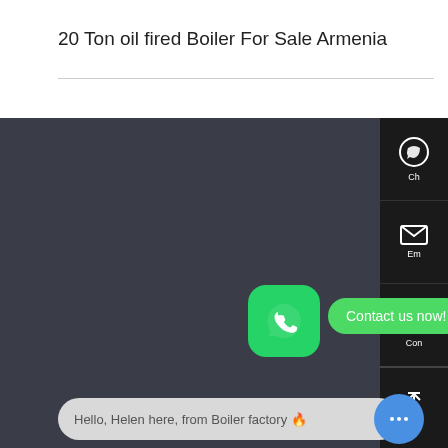20 Ton oil fired Boiler For Sale Armenia
[Figure (screenshot): Dark background section with WhatsApp contact button (green rounded square with WhatsApp logo), a green pill-shaped 'Contact us now!' bubble, a right-side black panel with chat/email/contact/scroll icons, a bottom chat bar reading 'Hello, Helen here, from Boiler factory 🔥', and a blue chat bubble button.]